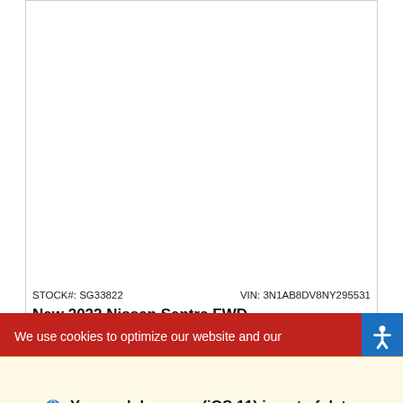[Figure (screenshot): Blank white area representing car image placeholder inside a bordered card]
STOCK#: SG33822    VIN: 3N1AB8DV8NY295531
New 2022 Nissan Sentra FWD
SR Sedan 4dr Car Xtronic CVT® (Continuously Variable Transmission)
MSRP
$24,770
We use cookies to optimize our website and our
Your web browser (iOS 11) is out of date.
Update your browser for more security, speed and the best experience on this site.